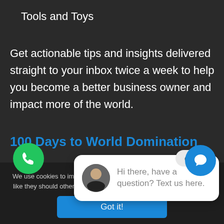Tools and Toys
Get actionable tips and insights delivered straight to your inbox twice a week to help you become a better business owner and impact more of the world.
100 Days to World Domination
close
[Figure (screenshot): Chat popup with avatar photo of a man and text: Hi there, have a question? Text us here.]
We use cookies to improve your user experience. You might not work like they should otherwise. You can also check out our Privacy Policy
Got it!
[Figure (other): Green phone call button (circle)]
[Figure (other): Blue chat/message button (circle)]